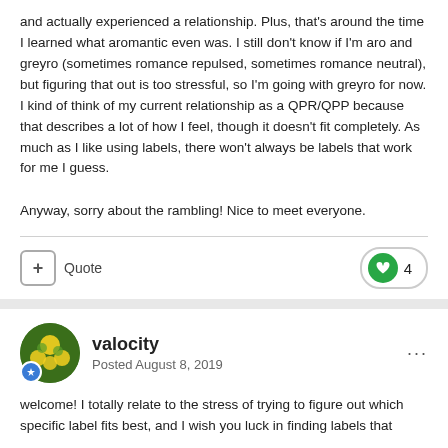and actually experienced a relationship. Plus, that's around the time I learned what aromantic even was. I still don't know if I'm aro and greyro (sometimes romance repulsed, sometimes romance neutral), but figuring that out is too stressful, so I'm going with greyro for now. I kind of think of my current relationship as a QPR/QPP because that describes a lot of how I feel, though it doesn't fit completely. As much as I like using labels, there won't always be labels that work for me I guess.
Anyway, sorry about the rambling! Nice to meet everyone.
Quote
4
valocity
Posted August 8, 2019
welcome! I totally relate to the stress of trying to figure out which specific label fits best, and I wish you luck in finding labels that